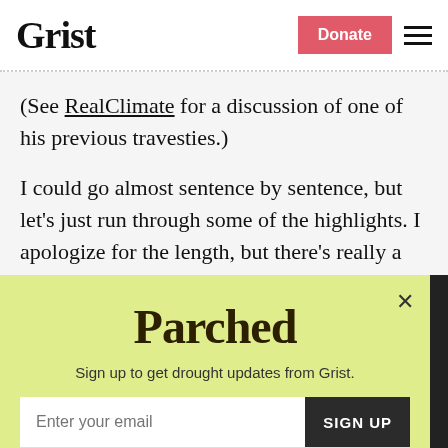Grist | Donate
(See RealClimate for a discussion of one of his previous travesties.)
I could go almost sentence by sentence, but let’s just run through some of the highlights. I apologize for the length, but there’s really a lot of trash here to shovel through.
[Figure (screenshot): Parchea newsletter signup modal overlay with yellow-green background, email input field, SIGN UP button, and No thanks link]
Sign up to get drought updates from Grist.